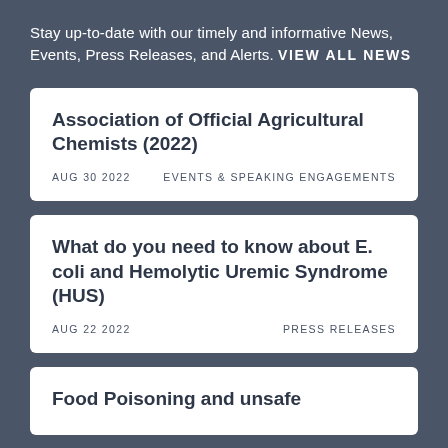Stay up-to-date with our timely and informative News, Events, Press Releases, and Alerts. VIEW ALL NEWS
Association of Official Agricultural Chemists (2022)
AUG 30 2022    EVENTS & SPEAKING ENGAGEMENTS
What do you need to know about E. coli and Hemolytic Uremic Syndrome (HUS)
AUG 22 2022    PRESS RELEASES
Food Poisoning and unsafe